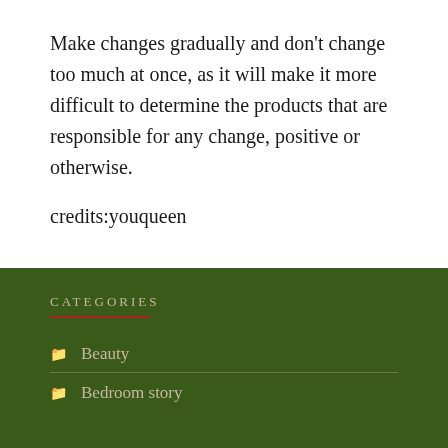Make changes gradually and don’t change too much at once, as it will make it more difficult to determine the products that are responsible for any change, positive or otherwise.
credits:youqueen
CATEGORIES
Beauty
Bedroom story